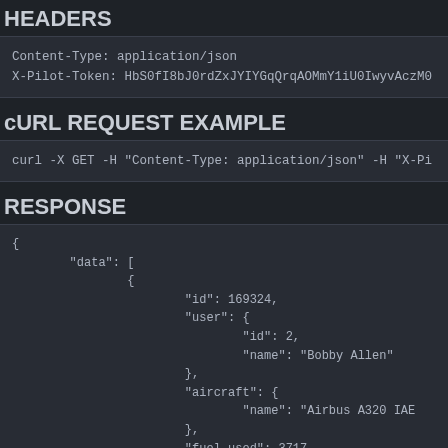HEADERS
Content-Type: application/json
X-Pilot-Token: HbS0fI8bJ0rdZxJYIYGqQrqAOMmY1iU0IwyvAczM0
cURL REQUEST EXAMPLE
curl -X GET -H "Content-Type: application/json" -H "X-Pi
RESPONSE
{
        "data": [
                {
                        "id": 169324,
                        "user": {
                                "id": 2,
                                "name": "Bobby Allen"
                        },
                        "aircraft": {
                                "name": "Airbus A320 IAE
                        },
                        "fuel_used": 3717,
                        "distance": {